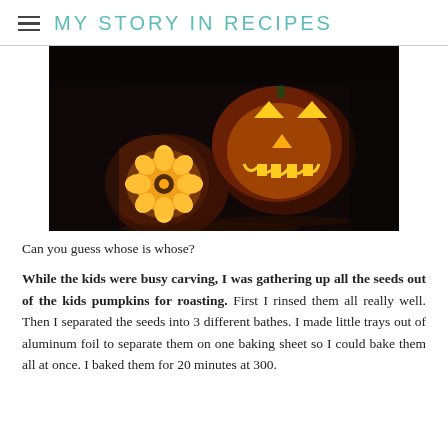MY STORY IN RECIPES
[Figure (photo): Two carved Halloween jack-o-lantern pumpkins glowing in the dark, one with a flower cut-out design and one with a traditional scary face, photographed against a very dark background.]
Can you guess whose is whose?
While the kids were busy carving, I was gathering up all the seeds out of the kids pumpkins for roasting.  First I rinsed them all really well.  Then I separated the seeds into 3 different bathes.  I made little trays out of aluminum foil to separate them on one baking sheet so I could bake them all at once.  I baked them for 20 minutes at 300.